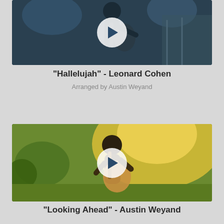[Figure (screenshot): Video thumbnail of a guitarist performing on stage at night with a play button overlay]
"Hallelujah" - Leonard Cohen
Arranged by Austin Weyand
[Figure (screenshot): Video thumbnail of a guitarist outdoors in golden sunset light with a play button overlay]
"Looking Ahead" - Austin Weyand